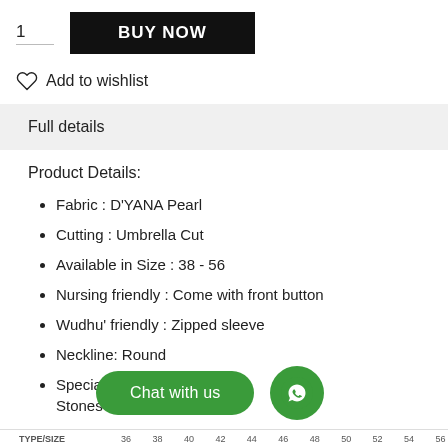1
BUY NOW
Add to wishlist
Full details
Product Details:
Fabric : D'YANA Pearl
Cutting : Umbrella Cut
Available in Size : 38 - 56
Nursing friendly : Come with front button
Wudhu' friendly : Zipped sleeve
Neckline: Round
Special featu... tf Stones
Chat with us
| TYPE/SIZE | 36 | 38 | 40 | 42 | 44 | 46 | 48 | 50 | 52 | 54 | 56 |
| --- | --- | --- | --- | --- | --- | --- | --- | --- | --- | --- | --- |